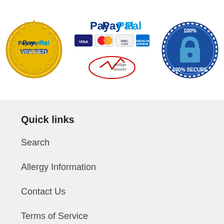[Figure (logo): PayPal Verified gold seal badge on left, PayPal logo with Visa, MasterCard, Discover, American Express card logos and VeriSign Secured badge in center, 100% Secure padlock badge on right]
Quick links
Search
Allergy Information
Contact Us
Terms of Service